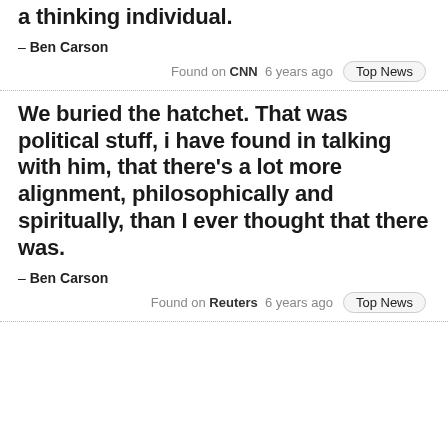a thinking individual.
– Ben Carson
Found on CNN  6 years ago  Top News
We buried the hatchet. That was political stuff, i have found in talking with him, that there's a lot more alignment, philosophically and spiritually, than I ever thought that there was.
– Ben Carson
Found on Reuters  6 years ago  Top News